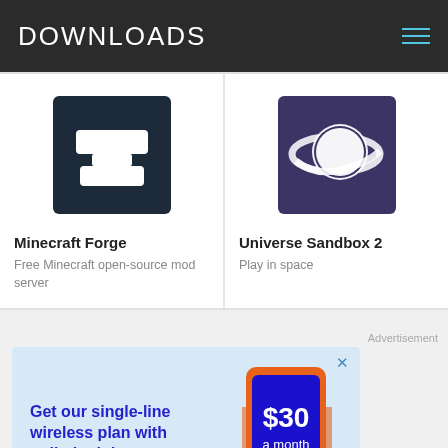DOWNLOADS
[Figure (logo): Minecraft Forge logo — dark navy square with white anvil icon]
Minecraft Forge
Free Minecraft open-source mod server
[Figure (logo): Universe Sandbox 2 logo — purple square with white planet/orbit icon]
Universe Sandbox 2
Play in space
Advertisement
[Figure (photo): Advertisement banner: light blue background with bold blue text 'Get our single-line wireless plan with unlimited data.' and a hand holding a phone showing '$30 a month all in' on a blue screen.]